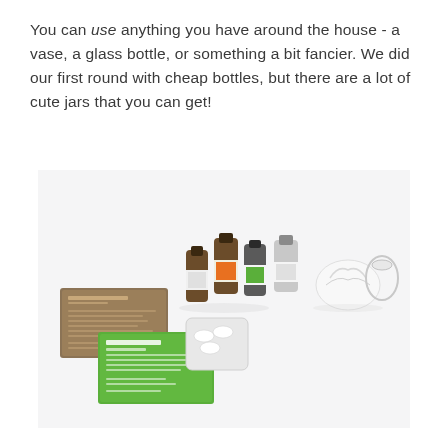You can use anything you have around the house - a vase, a glass bottle, or something a bit fancier. We did our first round with cheap bottles, but there are a lot of cute jars that you can get!
[Figure (photo): A flat-lay photo on a white surface showing several small essential oil bottles (brown and green with orange and green labels), a white decorative item, a small tray with white pieces, and two printed recipe cards (one brown, one green).]